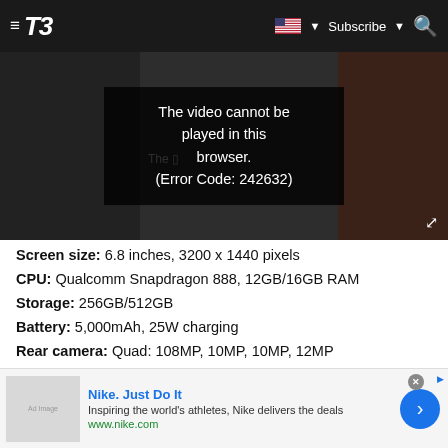T3 — Subscribe
[Figure (screenshot): Video player showing error message: The video cannot be played in this browser. (Error Code: 242632)]
Screen size: 6.8 inches, 3200 x 1440 pixels
CPU: Qualcomm Snapdragon 888, 12GB/16GB RAM
Storage: 256GB/512GB
Battery: 5,000mAh, 25W charging
Rear camera: Quad: 108MP, 10MP, 10MP, 12MP
Front camera: 40MP
REASONS TO BUY
+ Superb WQHD+ screen with 120Hz refresh
+ Hyper premium internal hardware
[Figure (screenshot): Nike advertisement banner: Nike. Just Do It. Inspiring the world's athletes, Nike delivers the deals. www.nike.com]